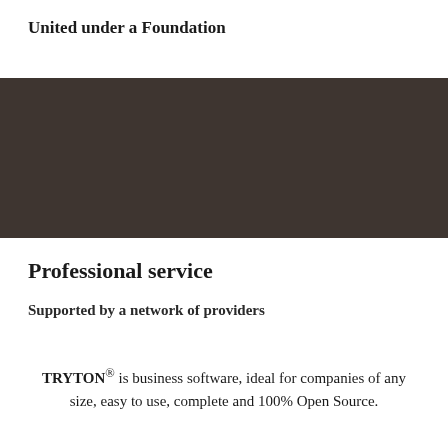United under a Foundation
[Figure (other): Dark brown/charcoal rectangular banner/background block spanning full page width]
Professional service
Supported by a network of providers
TRYTON® is business software, ideal for companies of any size, easy to use, complete and 100% Open Source.